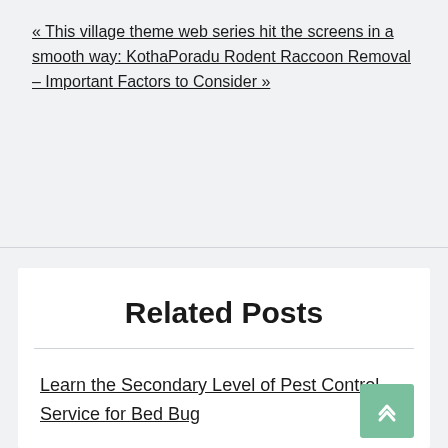« This village theme web series hit the screens in a smooth way: KothaPoradu Rodent Raccoon Removal – Important Factors to Consider »
Related Posts
Learn the Secondary Level of Pest Control Service for Bed Bug